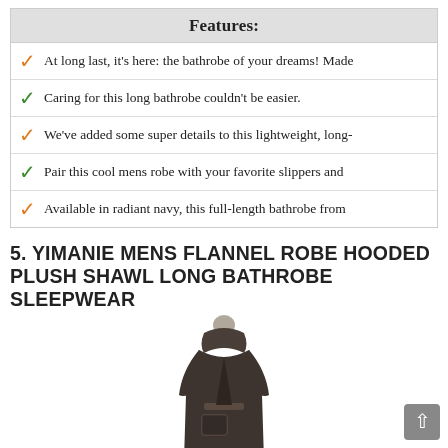Features:
At long last, it's here: the bathrobe of your dreams! Made
Caring for this long bathrobe couldn't be easier.
We've added some super details to this lightweight, long-
Pair this cool mens robe with your favorite slippers and
Available in radiant navy, this full-length bathrobe from
5. YIMANIE MENS FLANNEL ROBE HOODED PLUSH SHAWL LONG BATHROBE SLEEPWEAR
[Figure (photo): A person wearing a long dark brown/charcoal hooded flannel bathrobe with belt and front pocket, shown from front, full length view.]